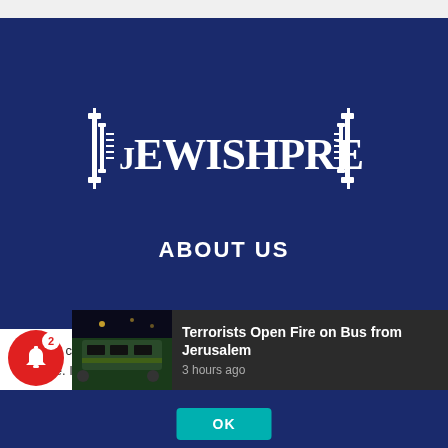[Figure (logo): JewishPress.com logo — white text with Torah scroll decorative elements on dark navy background]
ABOUT US
JewishPress.com - Bringing you the news from Israel and the Jewish World...
We use cookies to ensure that we give you the best experience on our website. If yo...
[Figure (photo): Thumbnail image of a bus attack scene at night, dark green lighting]
Terrorists Open Fire on Bus from Jerusalem
3 hours ago